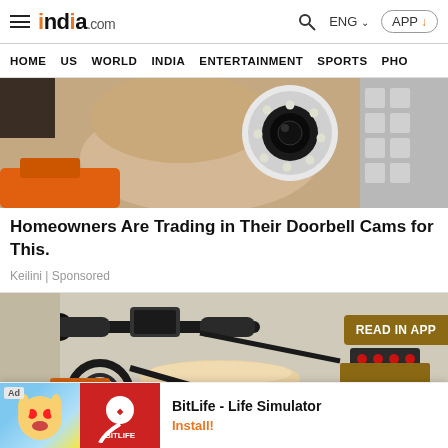india.com — HOME | US | WORLD | INDIA | ENTERTAINMENT | SPORTS | PHO...
[Figure (photo): Hand holding a round white security camera with LED ring, with orange power drill and white foam packaging in background]
Homeowners Are Trading in Their Doorbell Cams for This.
Keilini | Sponsored
[Figure (photo): Electric motorcycle handlebar area with red tail lights and orange/brown seat visible]
READ IN APP
Ad — BitLife - Life Simulator — Install!